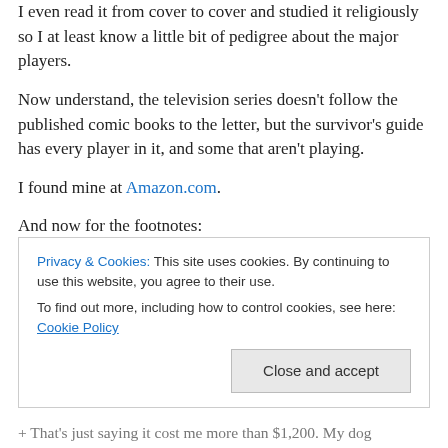I even read it from cover to cover and studied it religiously so I at least know a little bit of pedigree about the major players.
Now understand, the television series doesn't follow the published comic books to the letter, but the survivor's guide has every player in it, and some that aren't playing.
I found mine at Amazon.com.
And now for the footnotes:
*I won 3rd place at Steny's New Year's Eve chili contest
Privacy & Cookies: This site uses cookies. By continuing to use this website, you agree to their use. To find out more, including how to control cookies, see here: Cookie Policy
+ That's just saying it cost me more than $1,200. My dog